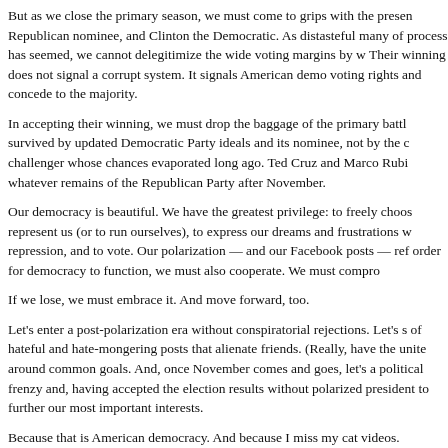But as we close the primary season, we must come to grips with the presence of Trump as the Republican nominee, and Clinton the Democratic. As distasteful many of the process has seemed, we cannot delegitimize the wide voting margins by which each won. Their winning does not signal a corrupt system. It signals American democracy: respect voting rights and concede to the majority.
In accepting their winning, we must drop the baggage of the primary battle. The GOP is survived by updated Democratic Party ideals and its nominee, not by the chances of a challenger whose chances evaporated long ago. Ted Cruz and Marco Rubio must rebuild whatever remains of the Republican Party after November.
Our democracy is beautiful. We have the greatest privilege: to freely choose leaders who represent us (or to run ourselves), to express our dreams and frustrations without repression, and to vote. Our polarization — and our Facebook posts — reflect that. But in order for democracy to function, we must also cooperate. We must compromise.
If we lose, we must embrace it. And move forward, too.
Let's enter a post-polarization era without conspiratorial rejections. Let's stop the sharing of hateful and hate-mongering posts that alienate friends. (Really, have they worked?) Let's unite around common goals. And, once November comes and goes, let's all come down from political frenzy and, having accepted the election results without polarized lenses, push the president to further our most important interests.
Because that is American democracy. And because I miss my cat videos.